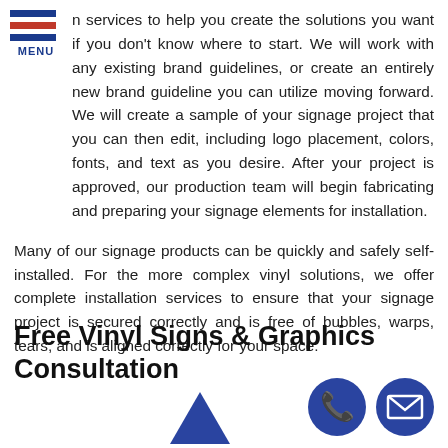[Figure (other): Hamburger menu icon with blue and red horizontal bars above the word MENU in blue]
in services to help you create the solutions you want if you don't know where to start. We will work with any existing brand guidelines, or create an entirely new brand guideline you can utilize moving forward. We will create a sample of your signage project that you can then edit, including logo placement, colors, fonts, and text as you desire. After your project is approved, our production team will begin fabricating and preparing your signage elements for installation.
Many of our signage products can be quickly and safely self-installed. For the more complex vinyl solutions, we offer complete installation services to ensure that your signage project is secured correctly and is free of bubbles, warps, tears, and is aligned correctly for your space.
Free Vinyl Signs & Graphics Consultation
[Figure (illustration): Blue circle icon with a phone handset symbol]
[Figure (illustration): Blue circle icon with an envelope/mail symbol]
[Figure (illustration): Blue upward-pointing triangle arrow at bottom center]